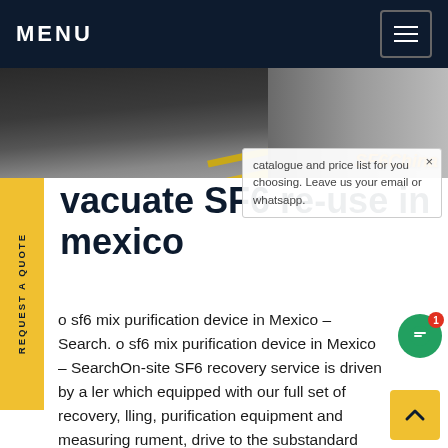MENU
[Figure (photo): Road/asphalt photo with yellow lines and gravel, SF6China branding overlay]
vacuate SF6 re-use in mexico
o sf6 mix purification device in Mexico - Search. o sf6 mix purification device in Mexico - SearchOn-site SF6 recovery service is driven by a ler which equipped with our full set of recovery, lling, purification equipment and measuring rument, drive to the substandard gas compartment, perform onsite shutdown and maintenance, directly recover unqualified SF6 g. Get price